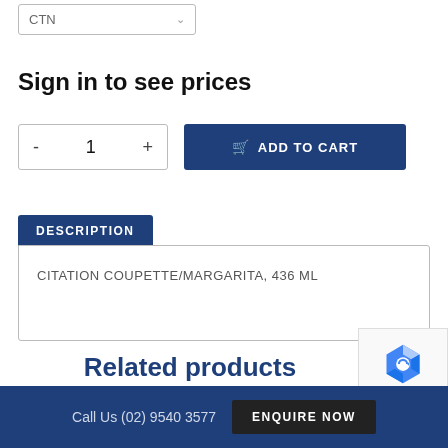[Figure (screenshot): Dropdown selector showing 'CTN' with a chevron arrow]
Sign in to see prices
[Figure (screenshot): Quantity selector with minus, 1, plus buttons and blue Add to Cart button]
DESCRIPTION
CITATION COUPETTE/MARGARITA, 436 ML
Related products
[Figure (screenshot): reCAPTCHA widget showing logo and Privacy - Terms text]
Call Us (02) 9540 3577   ENQUIRE NOW